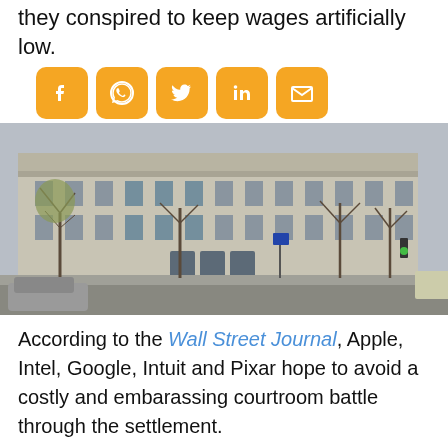they conspired to keep wages artificially low.
[Figure (other): Social media share icons: Facebook, WhatsApp, Twitter, LinkedIn, Email — orange rounded square buttons]
[Figure (photo): Photograph of a large neoclassical government building (US Department of Justice) on a city street with bare trees and parked cars in the foreground]
According to the Wall Street Journal, Apple, Intel, Google, Intuit and Pixar hope to avoid a costly and embarassing courtroom battle through the settlement.
An adverse judgement could also leave the